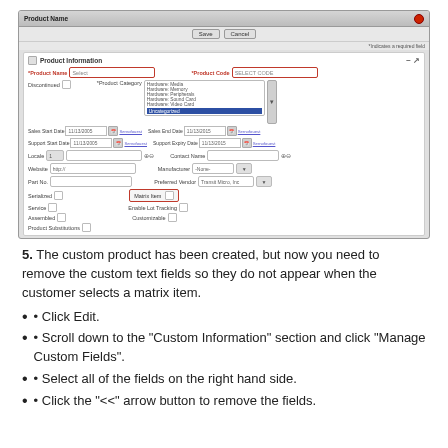[Figure (screenshot): Screenshot of a Product form/dialog in a software application showing fields for Product Name, Product Code, Product Category (with dropdown showing Hardware options and 'Uncategorized' selected), Discontinued checkbox, Sales Start Date, Sales End Date, Support Start Date, Support End Date, Locale, Contact Name, Website, Manufacturer, Part No., Preferred Vendor, Serialized, Matrix Item checkbox (highlighted in red), Service, Enable Lot Tracking, Assembled, Customizable, Product Substitutions checkboxes.]
5. The custom product has been created, but now you need to remove the custom text fields so they do not appear when the customer selects a matrix item.
• Click Edit.
• Scroll down to the "Custom Information" section and click "Manage Custom Fields".
• Select all of the fields on the right hand side.
• Click the "<<" arrow button to remove the fields.